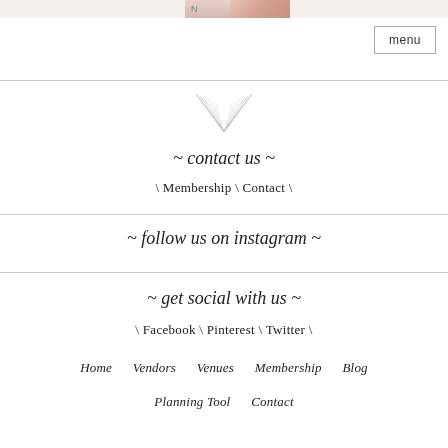[Figure (photo): Partial view of a floral/decorative image at top with letter N visible]
menu
[Figure (illustration): Decorative feather/chevron V-shape ornament]
~ contact us ~
\ Membership \ Contact \
~ follow us on instagram ~
~ get social with us ~
\ Facebook \ Pinterest \ Twitter \
Home   Vendors   Venues   Membership   Blog
Planning Tool   Contact